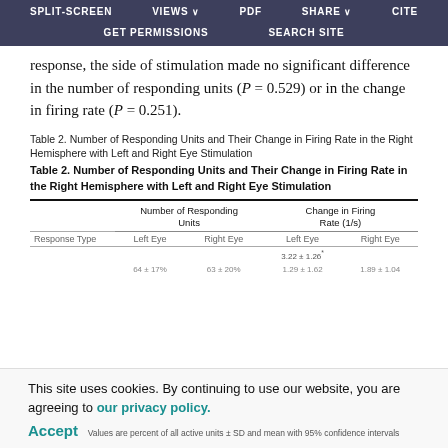SPLIT-SCREEN  VIEWS  PDF  SHARE  CITE  GET PERMISSIONS  SEARCH SITE
response, the side of stimulation made no significant difference in the number of responding units (P = 0.529) or in the change in firing rate (P = 0.251).
Table 2. Number of Responding Units and Their Change in Firing Rate in the Right Hemisphere with Left and Right Eye Stimulation
Table 2. Number of Responding Units and Their Change in Firing Rate in the Right Hemisphere with Left and Right Eye Stimulation
| Response Type | Number of Responding Units - Left Eye | Number of Responding Units - Right Eye | Change in Firing Rate (1/s) - Left Eye | Change in Firing Rate (1/s) - Right Eye |
| --- | --- | --- | --- | --- |